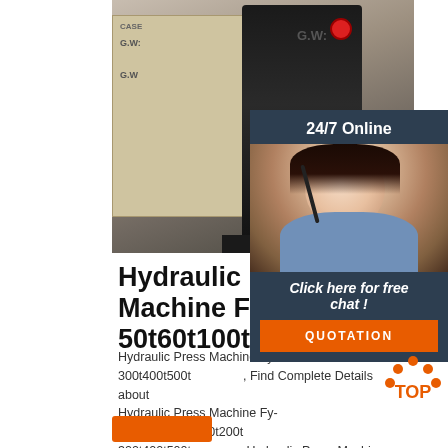[Figure (photo): Photo of a hydraulic press machine in a factory/warehouse setting, with wooden crates labeled G.W. and CASE in the background]
[Figure (photo): 24/7 Online customer service representative - woman wearing headset, smiling, with 'Click here for free chat!' text and QUOTATION button]
Hydraulic Press Machine Fy-30t 50t 60t 100t 150t ...
Hydraulic Press Machine Fy-30t 50t 60t 100t 150t 200t 300t 400t 500t, Find Complete Details about Hydraulic Press Machine Fy-30t 50t 60t 100t 150t 200t 300t 400t 500t,Hydraulic Press Machine 100 Ton,Hydraulic Press,Press Machine from Hydraulic Press Supplier or Manufacturer-Nantong Brillante Industrial ...